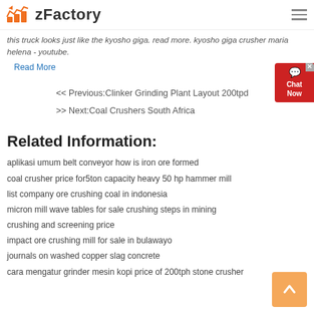zFactory
this truck looks just like the kyosho giga. read more. kyosho giga crusher maria helena - youtube.
Read More
<< Previous:Clinker Grinding Plant Layout 200tpd
>> Next:Coal Crushers South Africa
Related Information:
aplikasi umum belt conveyor how is iron ore formed
coal crusher price for5ton capacity heavy 50 hp hammer mill
list company ore crushing coal in indonesia
micron mill wave tables for sale crushing steps in mining
crushing and screening price
impact ore crushing mill for sale in bulawayo
journals on washed copper slag concrete
cara mengatur grinder mesin kopi price of 200tph stone crusher